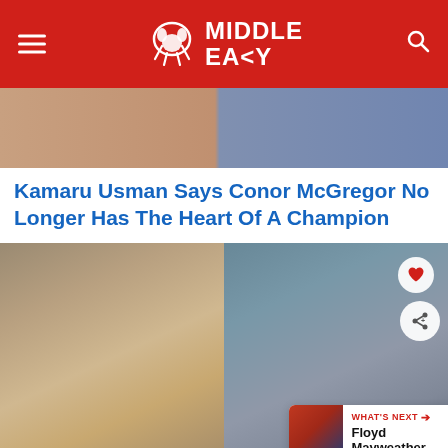Middle Easy
[Figure (photo): Partial view of two people at top of article, cropped]
Kamaru Usman Says Conor McGregor No Longer Has The Heart Of A Champion
[Figure (photo): Left: baby/toddler in dark blue jacket sitting at table. Right: Conor McGregor shirtless sitting on couch in blue shorts. Overlaid with heart and share buttons and a 'What's Next' bar showing Floyd Mayweather...]